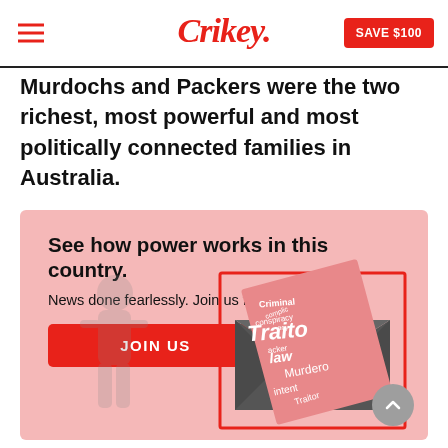Crikey. SAVE $100
Murdochs and Packers were the two richest, most powerful and most politically connected families in Australia.
[Figure (infographic): Promotional banner with pink background. Headline: 'See how power works in this country.' Subtext: 'News done fearlessly. Join us for just $99.' Red JOIN US button. Illustration of an envelope with a letter containing words like 'Criminal', 'conspiracy', 'Traitor', 'law', 'Murdero', 'intent', 'Traitor' and a shadowy figure.]